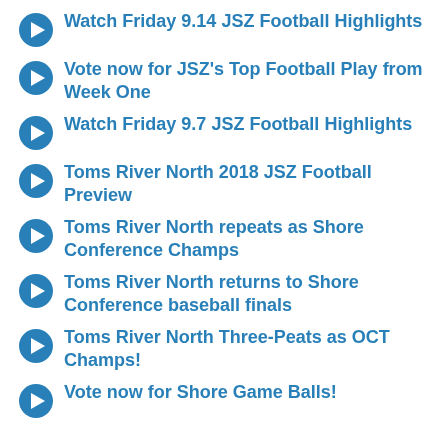Watch Friday 9.14 JSZ Football Highlights
Vote now for JSZ's Top Football Play from Week One
Watch Friday 9.7 JSZ Football Highlights
Toms River North 2018 JSZ Football Preview
Toms River North repeats as Shore Conference Champs
Toms River North returns to Shore Conference baseball finals
Toms River North Three-Peats as OCT Champs!
Vote now for Shore Game Balls!